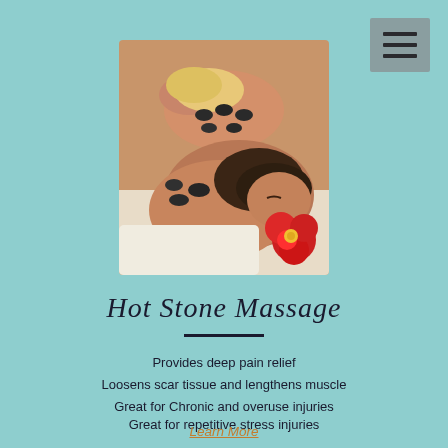[Figure (photo): Two people receiving a hot stone massage, lying face down on massage tables with black stones placed on their backs. A red flower is visible in the foreground.]
Hot Stone Massage
Provides deep pain relief
Loosens scar tissue and lengthens muscle
Great for Chronic and overuse injuries
Great for repetitive stress injuries
Learn More